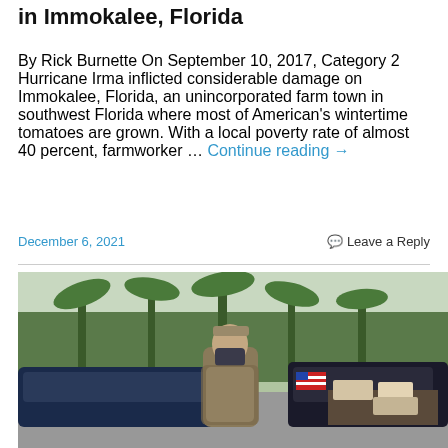in Immokalee, Florida
By Rick Burnette On September 10, 2017, Category 2 Hurricane Irma inflicted considerable damage on Immokalee, Florida, an unincorporated farm town in southwest Florida where most of American's wintertime tomatoes are grown. With a local poverty rate of almost 40 percent, farmworker … Continue reading →
December 6, 2021
Leave a Reply
[Figure (photo): A person wearing a face mask standing in a parking lot between cars with palm trees in the background. A truck bed filled with boxes and bags is visible to the right.]